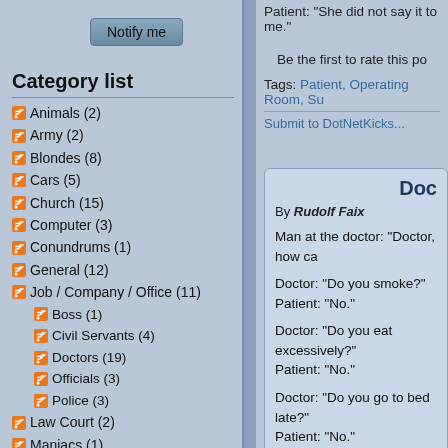Patient: "She did not say it to me."
Be the first to rate this post.
Tags: Patient, Operating Room, Su...
Submit to DotNetKicks...
Category list
Animals (2)
Army (2)
Blondes (8)
Cars (5)
Church (15)
Computer (3)
Conundrums (1)
General (12)
Job / Company / Office (11)
Boss (1)
Civil Servants (4)
Doctors (19)
Officials (3)
Police (3)
Law Court (2)
Maniacs (1)
Money (1)
People (6)
Polish (2)
Scots (5)
Doc
By Rudolf Faix
Man at the doctor: "Doctor, how ca...
Doctor: "Do you smoke?"
Patient: "No."
Doctor: "Do you eat excessively?"
Patient: "No."
Doctor: "Do you go to bed late?"
Patient: "No."
Doctor: "Do you have affairs with w..."
Patient: "No."
Doctor: "Why do you want to get s...